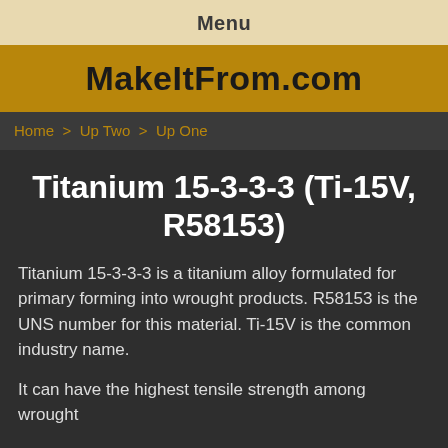Menu
MakeItFrom.com
Home > Up Two > Up One
Titanium 15-3-3-3 (Ti-15V, R58153)
Titanium 15-3-3-3 is a titanium alloy formulated for primary forming into wrought products. R58153 is the UNS number for this material. Ti-15V is the common industry name.
It can have the highest tensile strength among wrought